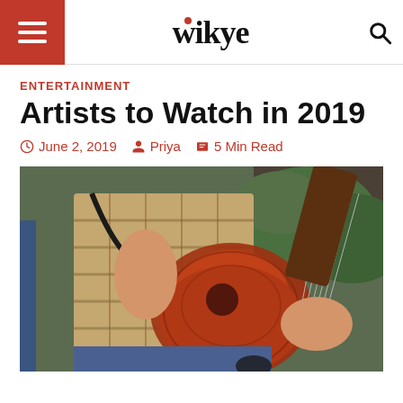wikye
ENTERTAINMENT
Artists to Watch in 2019
June 2, 2019  Priya  5 Min Read
[Figure (photo): Person playing an acoustic guitar outdoors, wearing a plaid shirt, with greenery and fence in background]